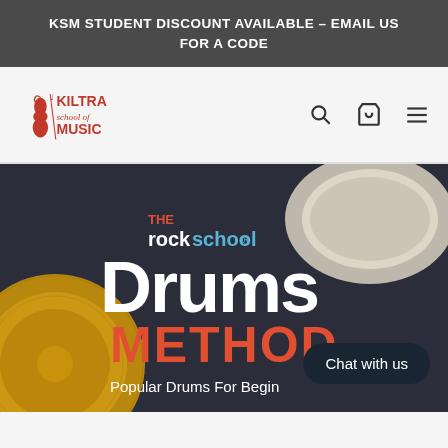KSM STUDENT DISCOUNT AVAILABLE – EMAIL US FOR A CODE
[Figure (logo): Kiltra School of Music logo with violin graphic and red text]
[Figure (screenshot): The Rockschool Drums Method book cover – Popular Drums For Beginners, dark navy background with cymbal and snare drum graphics, large white and red text]
Chat with us